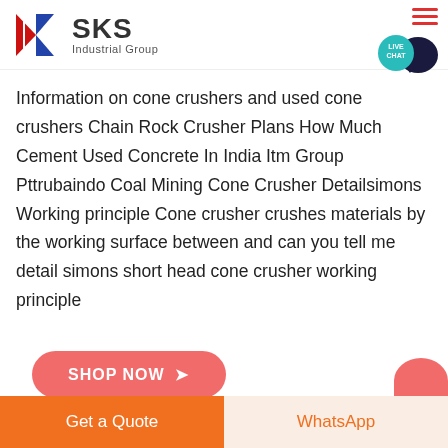[Figure (logo): SKS Industrial Group logo with red and blue K lettermark and company name]
Information on cone crushers and used cone crushers Chain Rock Crusher Plans How Much Cement Used Concrete In India Itm Group Pttrubaindo Coal Mining Cone Crusher Detailsimons Working principle Cone crusher crushes materials by the working surface between and can you tell me detail simons short head cone crusher working principle
SHOP NOW →
Get a Quote
WhatsApp